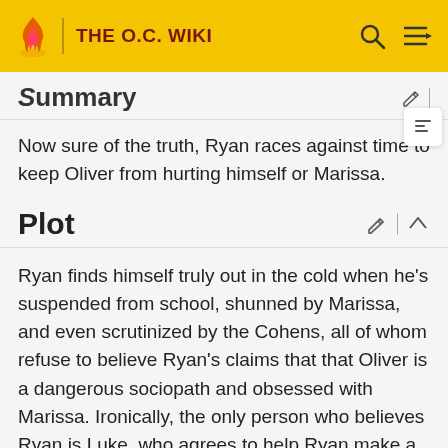THE O.C. WIKI
Summary
Now sure of the truth, Ryan races against time to keep Oliver from hurting himself or Marissa.
Plot
Ryan finds himself truly out in the cold when he's suspended from school, shunned by Marissa, and even scrutinized by the Cohens, all of whom refuse to believe Ryan's claims that that Oliver is a dangerous sociopath and obsessed with Marissa. Ironically, the only person who believes Ryan is Luke, who agrees to help Ryan make a background check on Oliver to find any dirt on him. But when Luke reveals evidence to Marissa, and then Seth,